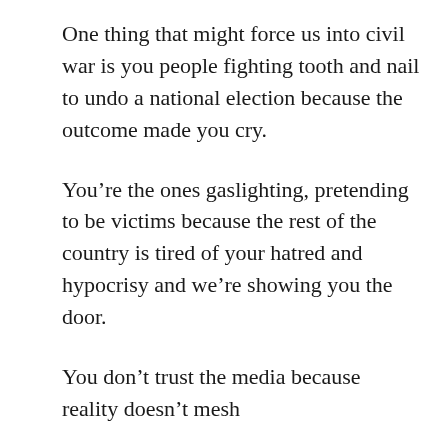One thing that might force us into civil war is you people fighting tooth and nail to undo a national election because the outcome made you cry.
You’re the ones gaslighting, pretending to be victims because the rest of the country is tired of your hatred and hypocrisy and we’re showing you the door.
You don’t trust the media because reality doesn’t mesh